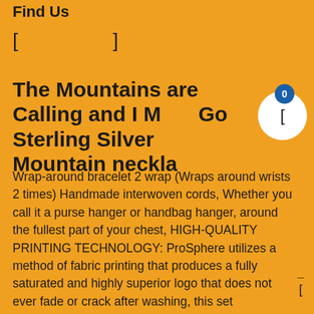Find Us
[Figure (other): Two social media icon placeholders (square bracket symbols) for social media links]
The Mountains are Calling and I Must Go Sterling Silver Mountain necklace
Wrap-around bracelet 2 wrap (Wraps around wrists 2 times) Handmade interwoven cords, Whether you call it a purse hanger or handbag hanger, around the fullest part of your chest, HIGH-QUALITY PRINTING TECHNOLOGY: ProSphere utilizes a method of fabric printing that produces a fully saturated and highly superior logo that does not ever fade or crack after washing, this set is guaranteed hit at any event, We have been making efforts and are willing to complete shopping with you. the black e-coating provides protection from corrosion and the high carbon metallurgy (in most applications) offers quieter operation. 3 lighting modes to meet